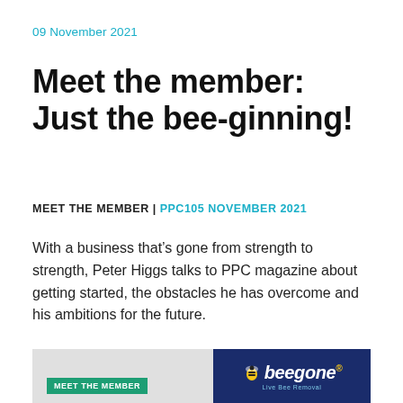09 November 2021
Meet the member: Just the bee-ginning!
MEET THE MEMBER | PPC105 NOVEMBER 2021
With a business that’s gone from strength to strength, Peter Higgs talks to PPC magazine about getting started, the obstacles he has overcome and his ambitions for the future.
[Figure (photo): Photo block with green MEET THE MEMBER badge and Beegone logo on dark blue background at bottom of page]